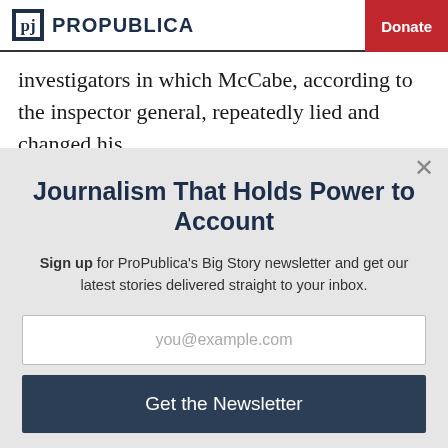ProPublica | Donate
investigators in which McCabe, according to the inspector general, repeatedly lied and changed his
Journalism That Holds Power to Account
Sign up for ProPublica's Big Story newsletter and get our latest stories delivered straight to your inbox.
you@example.com
Get the Newsletter
No thanks, I'm all set
This site is protected by reCAPTCHA and the Google Privacy Policy and Terms of Service apply.